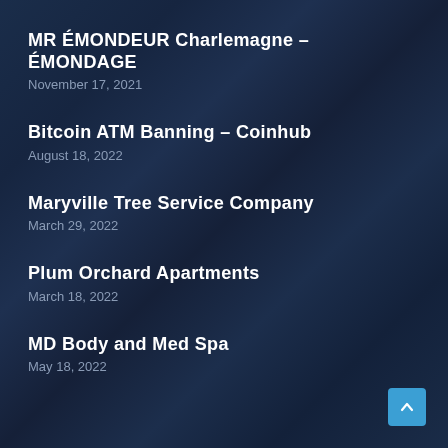MR ÉMONDEUR Charlemagne – ÉMONDAGE
November 17, 2021
Bitcoin ATM Banning – Coinhub
August 18, 2022
Maryville Tree Service Company
March 29, 2022
Plum Orchard Apartments
March 18, 2022
MD Body and Med Spa
May 18, 2022